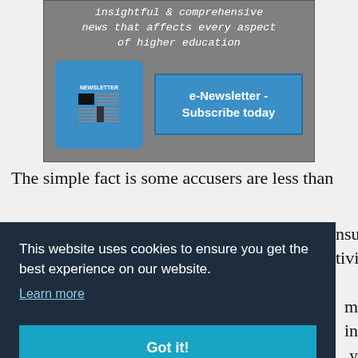[Figure (infographic): Newsletter subscription banner with gray background, newsletter icon on teal/blue rounded square, and 'e-Newsletter - Subscribe today' button. Text: 'insightful & comprehensive news that affects every aspect of higher education']
The simple fact is some accusers are less than …nsual …tivist …m in …y new …t of
[Figure (screenshot): Cookie consent overlay popup with dark navy background. Text: 'This website uses cookies to ensure you get the best experience on our website. Learn more'. Button: 'Got it!']